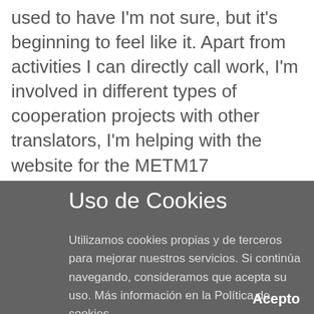used to have I'm not sure, but it's beginning to feel like it. Apart from activities I can directly call work, I'm involved in different types of cooperation projects with other translators, I'm helping with the website for the METM17 conference in October and I'm in the middle of organising some changes to my own website. On top of this, when I do get those changes up and running, the time will have come to start blogging for clients in my source languages, and that is going to take more time and effort. That's without even mentioning my personal life with my
Uso de Cookies
Utilizamos cookies propias y de terceros para mejorar nuestros servicios. Si continúa navegando, consideramos que acepta su uso. Más información en la Política de cookies
Acepto